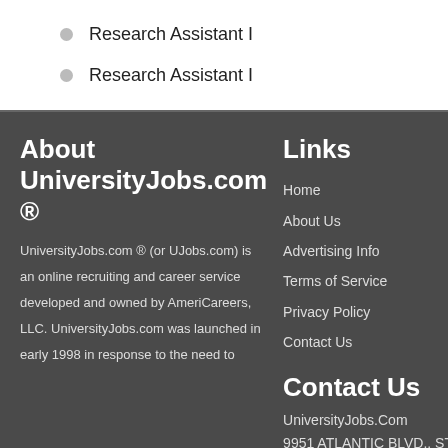Research Assistant I
Research Assistant I
About UniversityJobs.com ®
UniversityJobs.com ® (or UJobs.com) is an online recruiting and career service developed and owned by AmeriCareers, LLC. UniversityJobs.com was launched in early 1998 in response to the need to
Links
Home
About Us
Advertising Info
Terms of Service
Privacy Policy
Contact Us
Contact Us
UniversityJobs.Com
9951 ATLANTIC BLVD., STE